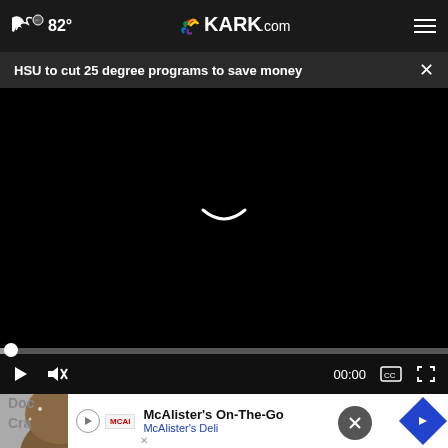82° KARK.com
HSU to cut 25 degree programs to save money
[Figure (screenshot): Black video player area with a small white smile/arc shape in the center, progress bar below, and playback controls showing play button, mute button, 00:00 timestamp, CC button, and fullscreen button]
[Figure (photo): Partial thumbnail image showing a furry brown animal, possibly a bear]
Doc Cra
McAlister's On-The-Go McAlister's Deli